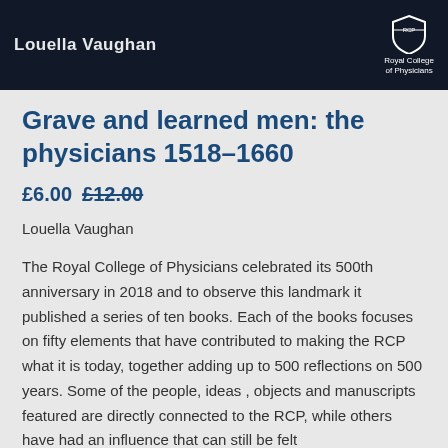[Figure (photo): Dark background book cover image with white author text on the left and Royal College of Physicians logo/crest on the right top portion of the page.]
Grave and learned men: the physicians 1518–1660
£6.00 £12.00
Louella Vaughan
The Royal College of Physicians celebrated its 500th anniversary in 2018 and to observe this landmark it published a series of ten books. Each of the books focuses on fifty elements that have contributed to making the RCP what it is today, together adding up to 500 reflections on 500 years. Some of the people, ideas , objects and manuscripts featured are directly connected to the RCP, while others have had an influence that can still be felt